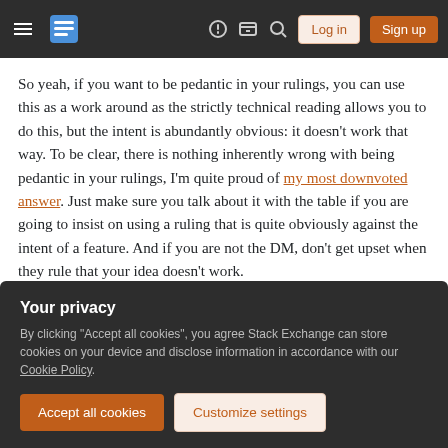Stack Exchange navigation bar with hamburger menu, logo, help, chat, search icons, Log in and Sign up buttons
So yeah, if you want to be pedantic in your rulings, you can use this as a work around as the strictly technical reading allows you to do this, but the intent is abundantly obvious: it doesn't work that way. To be clear, there is nothing inherently wrong with being pedantic in your rulings, I'm quite proud of my most downvoted answer. Just make sure you talk about it with the table if you are going to insist on using a ruling that is quite obviously against the intent of a feature. And if you are not the DM, don't get upset when they rule that your idea doesn't work.
Your privacy
By clicking "Accept all cookies", you agree Stack Exchange can store cookies on your device and disclose information in accordance with our Cookie Policy.
Accept all cookies  Customize settings